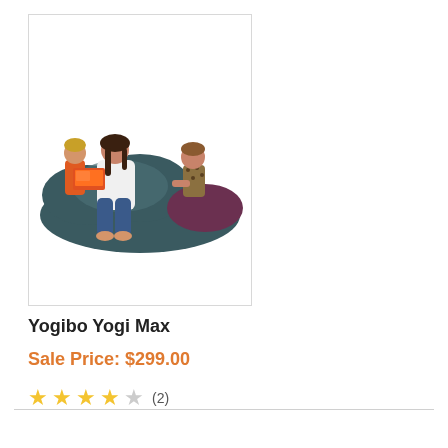[Figure (photo): Three people (woman and two children) lounging on a large dark teal/grey Yogibo bean bag. One child holds an orange laptop. White background.]
Yogibo Yogi Max
Sale Price: $299.00
★★★½☆ (2)